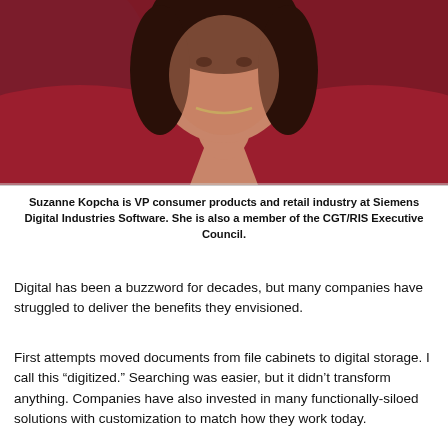[Figure (photo): Portrait photo of a woman in a dark red/maroon v-neck sweater with a silver necklace, photographed against a blurred background]
Suzanne Kopcha is VP consumer products and retail industry at Siemens Digital Industries Software. She is also a member of the CGT/RIS Executive Council.
Digital has been a buzzword for decades, but many companies have struggled to deliver the benefits they envisioned.
First attempts moved documents from file cabinets to digital storage. I call this “digitized.” Searching was easier, but it didn’t transform anything. Companies have also invested in many functionally-siloed solutions with customization to match how they work today.